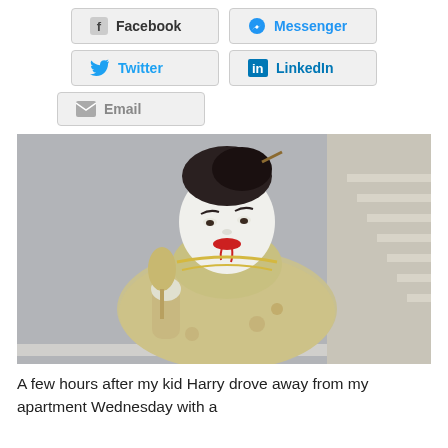[Figure (other): Social share buttons: Facebook, Messenger, Twitter, LinkedIn, Email]
[Figure (photo): Person in Halloween costume wearing white face makeup with red lipstick/drips resembling vampire/geisha, dark hair up with chopstick, gold floral satin robe, holding a small wooden fan or brush, looking down. Staircase visible in background.]
A few hours after my kid Harry drove away from my apartment Wednesday with a